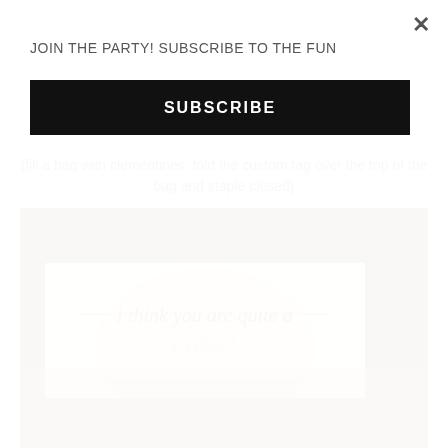JOIN THE PARTY! SUBSCRIBE TO THE FUN
SUBSCRIBE
{fill a bag with clementines, fold the custom tag over the top of the bag and staple closed}
[Figure (photo): A plastic bag filled with clementines topped with a custom bag topper tag that reads 'i think you are quite a cutie!' with a peach/orange circle design.]